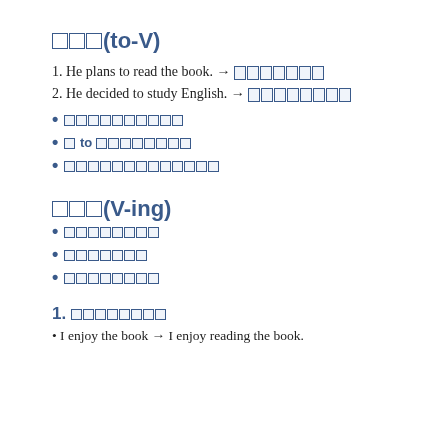□□□(to-V)
1. He plans to read the book. → □□□□□□□
2. He decided to study English. → □□□□□□□□
• □□□□□□□□□□
• □ to □□□□□□□□
• □□□□□□□□□□□□□
□□□(V-ing)
• □□□□□□□□
• □□□□□□□
• □□□□□□□□
1. □□□□□□□□
• I enjoy the book → I enjoy reading the book.